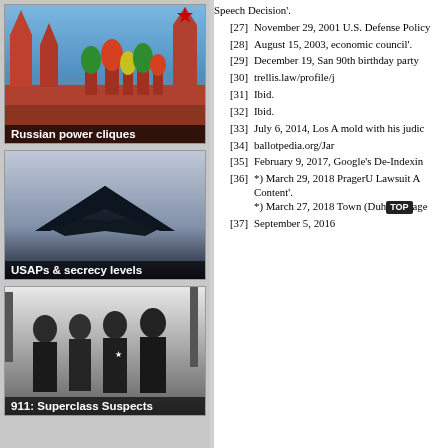[Figure (photo): Photo of Kremlin / St. Basil's Cathedral Moscow with caption 'Russian power cliques']
[Figure (photo): Photo of stealth aircraft (F-117 or similar) with caption 'USAPs & secrecy levels']
[Figure (photo): Black and white photo of military/political figures with caption '911: Superclass Suspects']
Speech Decision'.
[27] November 29, 2001 U.S. Defense Policy
[28] August 15, 2003, economic council'.
[29] December 19, San 90th birthday party
[30] trellis.law/profile/j
[31] Ibid.
[32] Ibid.
[33] July 6, 2014, Los A mold with his judic
[34] ballotpedia.org/Jar
[35] February 9, 2017, Google's De-Indexin
[36] *) March 29, 2018 PragerU Lawsuit A Content'. *) March 27, 2018 Town (Duh TOP age
[37] September 5, 2016